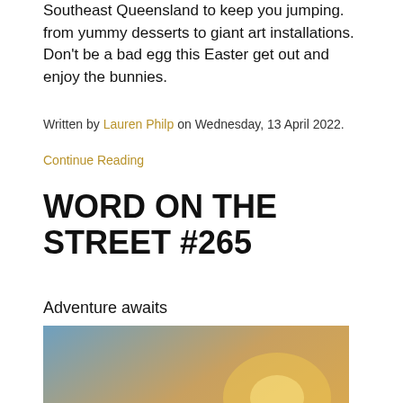Southeast Queensland to keep you jumping. from yummy desserts to giant art installations. Don't be a bad egg this Easter get out and enjoy the bunnies.
Written by Lauren Philp on Wednesday, 13 April 2022.
Continue Reading
WORD ON THE STREET #265
Adventure awaits
[Figure (photo): Two silhouetted people holding hands walking along a beach at sunset, with waves on the left side and warm golden/orange sky.]